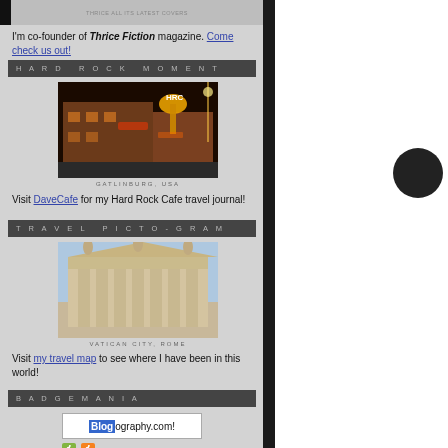[Figure (photo): Top strip with black bar and gray image area showing text 'THRICE FICTION' or similar]
I'm co-founder of Thrice Fiction magazine. Come check us out!
HARD ROCK MOMENT
[Figure (photo): Night photo of Hard Rock Cafe in Gatlinburg, USA with neon guitar sign]
GATLINBURG, USA
Visit DaveCafe for my Hard Rock Cafe travel journal!
TRAVEL PICTO-GRAM
[Figure (photo): Photo of Vatican City, Rome building with columns and statues]
VATICAN CITY, ROME
Visit my travel map to see where I have been in this world!
BADGEMANIA
[Figure (screenshot): Blogography.com! badge/button]
ENTRIES FEED
It's probably only a matter of time before the officer is wearing his official "Po... his lights flashing... even if they...
Oh well. I guess we'll still get to...